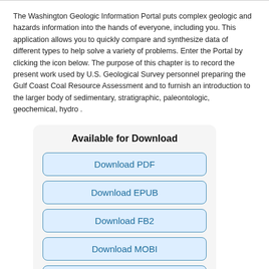The Washington Geologic Information Portal puts complex geologic and hazards information into the hands of everyone, including you. This application allows you to quickly compare and synthesize data of different types to help solve a variety of problems. Enter the Portal by clicking the icon below. The purpose of this chapter is to record the present work used by U.S. Geological Survey personnel preparing the Gulf Coast Coal Resource Assessment and to furnish an introduction to the larger body of sedimentary, stratigraphic, paleontologic, geochemical, hydro .
Available for Download
Download PDF
Download EPUB
Download FB2
Download MOBI
Download TXT